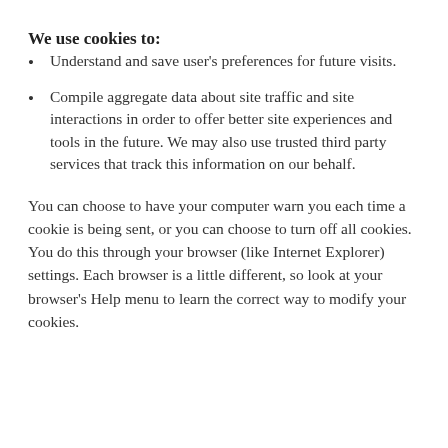We use cookies to:
Understand and save user’s preferences for future visits.
Compile aggregate data about site traffic and site interactions in order to offer better site experiences and tools in the future. We may also use trusted third party services that track this information on our behalf.
You can choose to have your computer warn you each time a cookie is being sent, or you can choose to turn off all cookies. You do this through your browser (like Internet Explorer) settings. Each browser is a little different, so look at your browser’s Help menu to learn the correct way to modify your cookies.